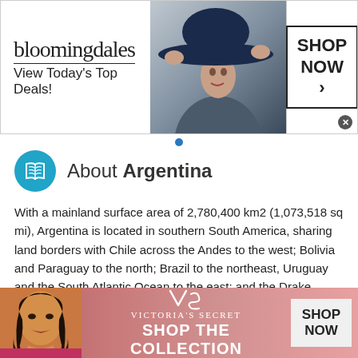[Figure (screenshot): Bloomingdale's advertisement banner with logo, 'View Today's Top Deals!' tagline, woman in large blue hat, and 'SHOP NOW >' button in bordered box]
About Argentina
With a mainland surface area of 2,780,400 km2 (1,073,518 sq mi), Argentina is located in southern South America, sharing land borders with Chile across the Andes to the west; Bolivia and Paraguay to the north; Brazil to the northeast, Uruguay and the South Atlantic Ocean to the east; and the Drake Passage to the south; for an overall land border length of
This site uses cookies and other similar technologies to provide site functionality, analyze traffic and usage, and
[Figure (screenshot): Victoria's Secret advertisement with woman model, VS logo, 'SHOP THE COLLECTION' text, and 'SHOP NOW' button]